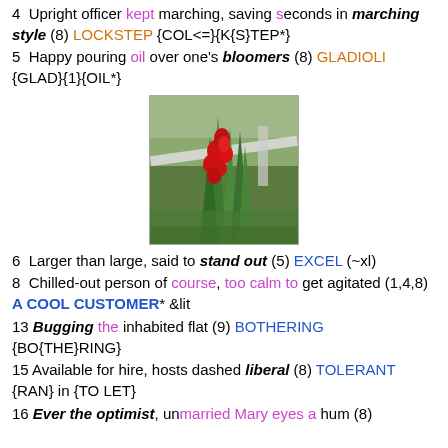4  Upright officer kept marching, saving seconds in marching style (8) LOCKSTEP {COL<=}{K{S}TEP*}
5  Happy pouring oil over one's bloomers (8) GLADIOLI {GLAD}{1}{OIL*}
[Figure (photo): A gladiolus plant with red flowers growing in a grassy outdoor field, with a wooden fence or bench visible in the background.]
6  Larger than large, said to stand out (5) EXCEL (~xl)
8  Chilled-out person of course, too calm to get agitated (1,4,8) A COOL CUSTOMER* &lit
13 Bugging the inhabited flat (9) BOTHERING {BO{THE}RING}
15 Available for hire, hosts dashed liberal (8) TOLERANT {RAN} in {TO LET}
16 Ever the optimist, unmarried Mary eyes a hum (8)